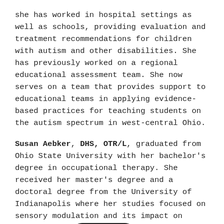she has worked in hospital settings as well as schools, providing evaluation and treatment recommendations for children with autism and other disabilities. She has previously worked on a regional educational assessment team. She now serves on a team that provides support to educational teams in applying evidence-based practices for teaching students on the autism spectrum in west-central Ohio.
Susan Aebker, DHS, OTR/L, graduated from Ohio State University with her bachelor's degree in occupational therapy. She received her master's degree and a doctoral degree from the University of Indianapolis where her studies focused on sensory modulation and its impact on behavior. Su[Chat with us]s on a regional autism coaching team in we[Chat with us]d is an associate professor at Kettering College in their occupational therapy doctoral program.